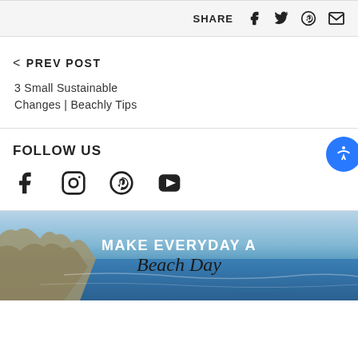SHARE
< PREV POST
3 Small Sustainable Changes | Beachly Tips
FOLLOW US
[Figure (infographic): Social media follow icons: Facebook, Instagram, Pinterest, YouTube]
[Figure (photo): Coastal beach scene with rocky cliffs and blue ocean water, with overlay text MAKE EVERYDAY A Beach Day]